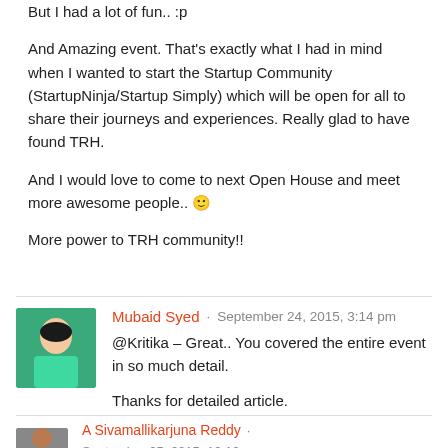But I had a lot of fun.. :p
And Amazing event. That's exactly what I had in mind when I wanted to start the Startup Community (StartupNinja/Startup Simply) which will be open for all to share their journeys and experiences. Really glad to have found TRH.
And I would love to come to next Open House and meet more awesome people.. 🙂
More power to TRH community!!
[Figure (photo): Avatar photo of Mubaid Syed, a young man in a teal/green shirt, smiling]
Mubaid Syed · September 24, 2015, 3:14 pm
@Kritika – Great.. You covered the entire event in so much detail.

Thanks for detailed article.
[Figure (photo): Partial avatar photo of A Sivamallikarjuna Reddy, partially cut off at bottom]
A Sivamallikarjuna Reddy  ·  September 25, 2015, 10:16 a...